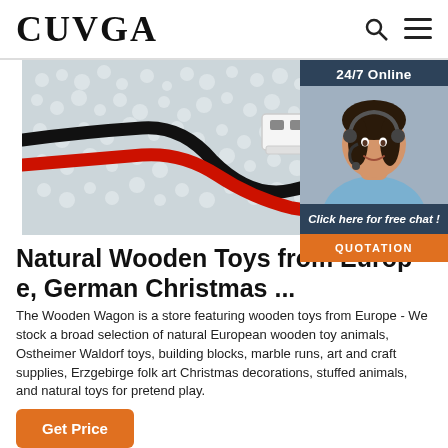CUVGA
[Figure (photo): Close-up photo of a white electrical connector with black and red wires on a textured white foam/bubble wrap background]
[Figure (photo): 24/7 Online chat widget with a woman wearing a headset, with 'Click here for free chat!' text and an orange QUOTATION button]
Natural Wooden Toys from Europe, German Christmas ...
The Wooden Wagon is a store featuring wooden toys from Europe - We stock a broad selection of natural European wooden toy animals, Ostheimer Waldorf toys, building blocks, marble runs, art and craft supplies, Erzgebirge folk art Christmas decorations, stuffed animals, and natural toys for pretend play.
Get Price